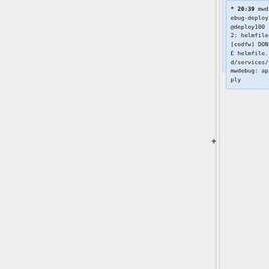* 20:39 mwdebug-deploy@deploy1002: helmfile [codfw] DONE helmfile.d/services/mwdebug: apply
* 20:38 mwdebug-deploy@deploy1002: helmfile [codfw] START helmfile.d/services/mwdebug: apply
* 20:38